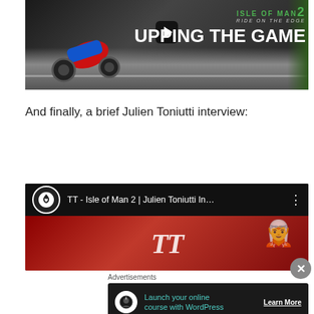[Figure (screenshot): Video thumbnail for Isle of Man TT: Ride on the Edge 2 game, showing a motorcycle racer leaning into a turn on a road circuit, with overlay text 'ISLE OF MAN 2 RIDE ON THE EDGE' and 'UPPING THE GAME' in white, and a play button icon.]
And finally, a brief Julien Toniutti interview:
[Figure (screenshot): YouTube video thumbnail for 'TT - Isle of Man 2 | Julien Toniutti In...' showing a dark background with the TT logo in white italic text and a character illustration on red background. YouTube-style player interface with channel icon and menu dots.]
Advertisements
[Figure (screenshot): Advertisement banner: 'Launch your online course with WordPress' with a Learn More button, dark background with a circular icon showing a person/cloud symbol, teal text.]